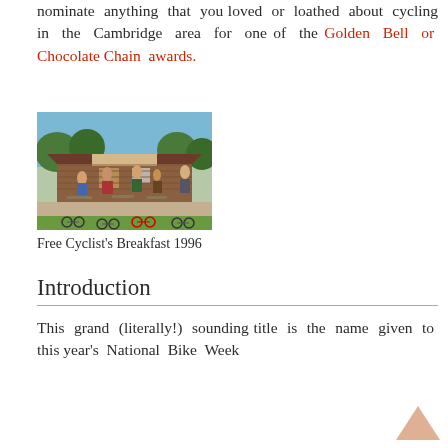nominate anything that you loved or loathed about cycling in the Cambridge area for one of the Golden Bell or Chocolate Chain awards.
[Figure (photo): Outdoor scene showing people at a cycling breakfast event in 1996, with bicycles parked on grass in front of a wooden building with a tiled roof.]
Free Cyclist’s Breakfast 1996
Introduction
This grand (literally!) sounding title is the name given to this year’s National Bike Week